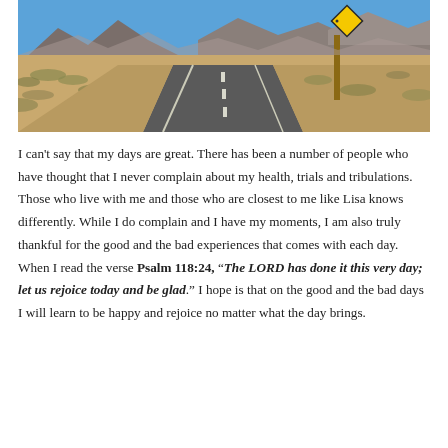[Figure (photo): A desert highway stretching into the distance with mountains on the horizon and a yellow diamond-shaped road sign on the right side of the road. Blue sky with sparse vegetation along the roadside.]
I can't say that my days are great. There has been a number of people who have thought that I never complain about my health, trials and tribulations. Those who live with me and those who are closest to me like Lisa knows differently. While I do complain and I have my moments, I am also truly thankful for the good and the bad experiences that comes with each day. When I read the verse Psalm 118:24, “The LORD has done it this very day; let us rejoice today and be glad.” I hope is that on the good and the bad days I will learn to be happy and rejoice no matter what the day brings.